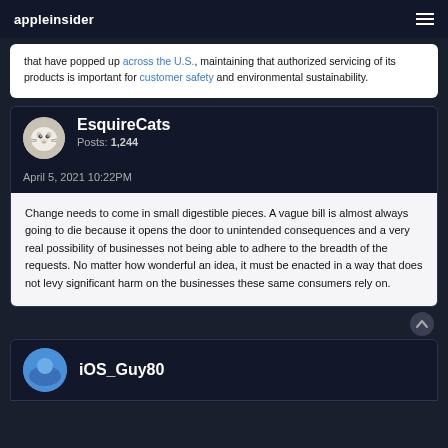appleinsider
that have popped up across the U.S., maintaining that authorized servicing of its products is important for customer safety and environmental sustainability.
EsquireCats
Posts: 1,244
April 5, 2021 10:22PM
Change needs to come in small digestible pieces. A vague bill is almost always going to die because it opens the door to unintended consequences and a very real possibility of businesses not being able to adhere to the breadth of the requests. No matter how wonderful an idea, it must be enacted in a way that does not levy significant harm on the businesses these same consumers rely on.
iOS_Guy80